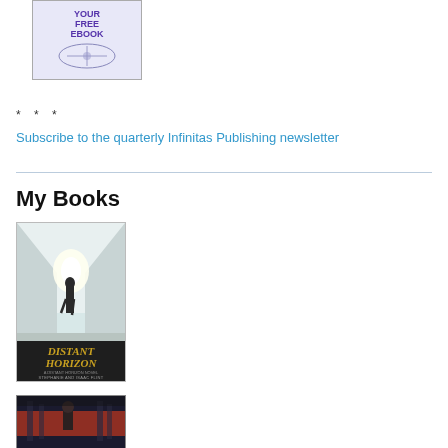[Figure (illustration): Book cover or ebook promotional image with text 'YOUR FREE EBOOK' in purple bold letters on a light illustrated background]
* * *
Subscribe to the quarterly Infinitas Publishing newsletter
My Books
[Figure (illustration): Book cover for 'Distant Horizon' showing a figure walking down a bright corridor, with the title in gold italic text at the bottom, authored by Stephanie and Isaac Flint]
[Figure (illustration): Partial book cover showing a dark sci-fi scene with a figure viewed from behind against a reddish background]